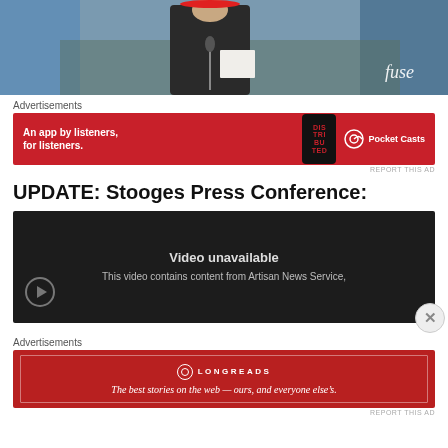[Figure (photo): Photo of person at podium/press conference, with 'fuse' logo visible in bottom right corner]
Advertisements
[Figure (other): Pocket Casts advertisement banner: 'An app by listeners, for listeners.' with phone image and Pocket Casts logo on red background]
REPORT THIS AD
UPDATE: Stooges Press Conference:
[Figure (screenshot): Embedded YouTube video showing 'Video unavailable - This video contains content from Artisan News Service,' with close button overlay]
Advertisements
[Figure (other): Longreads advertisement: 'The best stories on the web — ours, and everyone else's.' on red background with Longreads logo]
REPORT THIS AD